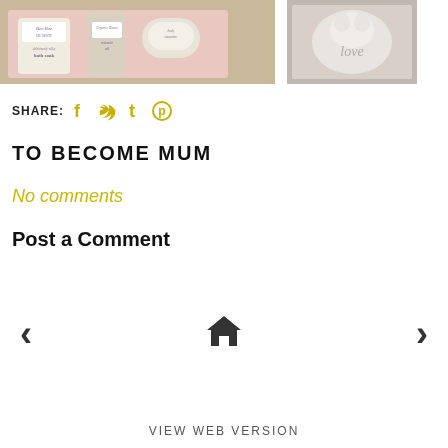[Figure (photo): Two product photos side by side: left shows Bee Bee Mummie bath soak, miracle oil, and body smoother jars/bottles in a pink box; right shows a small dog or cat with a tattoo-style scripted word visible]
SHARE: [social icons: Facebook, Twitter, Tumblr, Pinterest]
TO BECOME MUM
No comments
Post a Comment
< [home icon] >
VIEW WEB VERSION